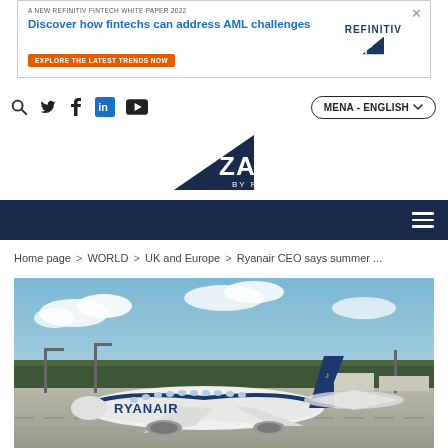[Figure (other): Refinitiv/Zawya advertisement banner: 'A NEW REFINITIV FINTECH WHITE PAPER 2022 - Discover how fintechs can address AML challenges - EXPLORE THE LATEST TRENDS NOW' with Refinitiv logo]
[Figure (other): Navigation bar with search, Twitter, Facebook, LinkedIn, YouTube icons on left, and MENA - ENGLISH language selector on right]
[Figure (logo): ZAWYA BY REFINITIV logo - dark navy triangle with ZAWYA text]
[Figure (other): Dark navy navigation bar with hamburger menu icon on right]
Home page > WORLD > UK and Europe > Ryanair CEO says summer ...
[Figure (photo): Photo of a Ryanair Boeing 737 aircraft on tarmac at an airport, blue sky with clouds and trees in background]